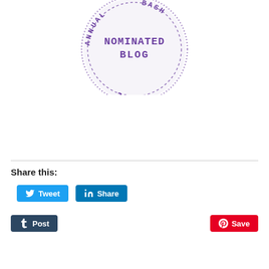[Figure (illustration): A circular stamp/badge in purple showing 'NOMINATED BLOG' in the center and '2017' at the bottom, with 'ANNUAL' on the left arc and 'BASH' on the right arc, rendered with a dashed inner ring and distressed/stamp texture. The stamp appears partially cropped at the top.]
Share this:
[Figure (other): Tweet button (blue, Twitter bird icon) and LinkedIn Share button (blue, LinkedIn icon) side by side]
[Figure (other): Tumblr Post button (dark navy, Tumblr t icon) on left and Pinterest Save button (red, Pinterest P icon) on right]